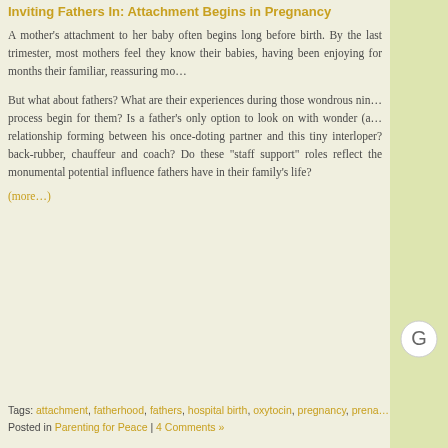Inviting Fathers In: Attachment Begins in Pregnancy
A mother's attachment to her baby often begins long before birth. By the last trimester, most mothers feel they know their babies, having been enjoying for months their familiar, reassuring movements.
But what about fathers? What are their experiences during those wondrous nine months? Does the bonding process begin for them? Is a father's only option to look on with wonder (and sometimes alarm) at the new relationship forming between his once-doting partner and this tiny interloper? Is he relegated to the role of back-rubber, chauffeur and coach? Do these “staff support” roles reflect the monumental potential influence fathers have in their family's life?
(more...)
Tags: attachment, fatherhood, fathers, hospital birth, oxytocin, pregnancy, prena...
Posted in Parenting for Peace | 4 Comments »